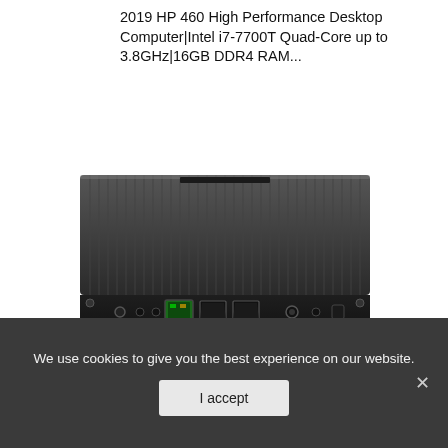2019 HP 460 High Performance Desktop Computer|Intel i7-7700T Quad-Core up to 3.8GHz|16GB DDR4 RAM...
[Figure (photo): Rear view of a small form factor desktop computer (mini PC) showing the back panel with ports including Ethernet, HDMI, USB-C, audio jacks, and power connector. The device has a black ribbed/finned top cover for heat dissipation.]
We use cookies to give you the best experience on our website.
I accept